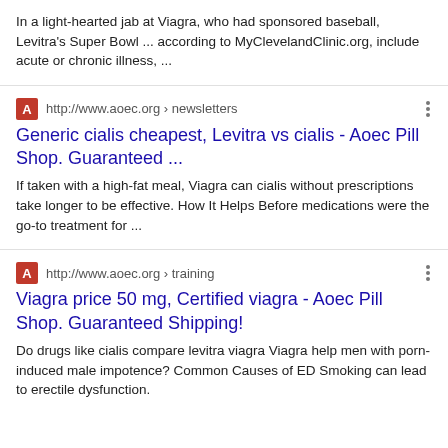In a light-hearted jab at Viagra, who had sponsored baseball, Levitra's Super Bowl ... according to MyClevelandClinic.org, include acute or chronic illness, ...
http://www.aoec.org › newsletters
Generic cialis cheapest, Levitra vs cialis - Aoec Pill Shop. Guaranteed ...
If taken with a high-fat meal, Viagra can cialis without prescriptions take longer to be effective. How It Helps Before medications were the go-to treatment for ...
http://www.aoec.org › training
Viagra price 50 mg, Certified viagra - Aoec Pill Shop. Guaranteed Shipping!
Do drugs like cialis compare levitra viagra Viagra help men with porn-induced male impotence? Common Causes of ED Smoking can lead to erectile dysfunction.